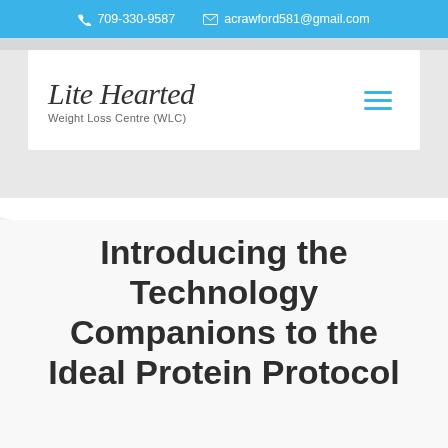709-330-9587   acrawford581@gmail.com
[Figure (logo): Lite Hearted Weight Loss Centre (WLC) logo in script/italic font]
Introducing the Technology Companions to the Ideal Protein Protocol